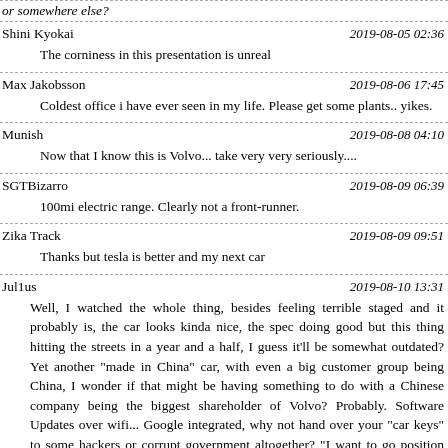or somewhere else?
Shini Kyokai
2019-08-05 02:36
The corniness in this presentation is unreal
Max Jakobsson
2019-08-06 17:45
Coldest office i have ever seen in my life. Please get some plants.. yikes.
Munish
2019-08-08 04:10
Now that I know this is Volvo... take very very seriously....
SGTBizarro
2019-08-09 06:39
100mi electric range. Clearly not a front-runner.
Zika Track
2019-08-09 09:51
Thanks but tesla is better and my next car
Jul1us
2019-08-10 13:31
Well, I watched the whole thing, besides feeling terrible staged and it probably is, the car looks kinda nice, the spec doing good but this thing hitting the streets in a year and a half, I guess it’ll be somewhat outdated? Yet another “made in China” car, with even a big customer group being China, I wonder if that might be having something to do with a Chinese company being the biggest shareholder of Volvo? Probably. Software Updates over wifi... Google integrated, why not hand over your “car keys” to some hackers or corrupt government altogether? “I want to go position X..”,, “you said something against the Chinese government